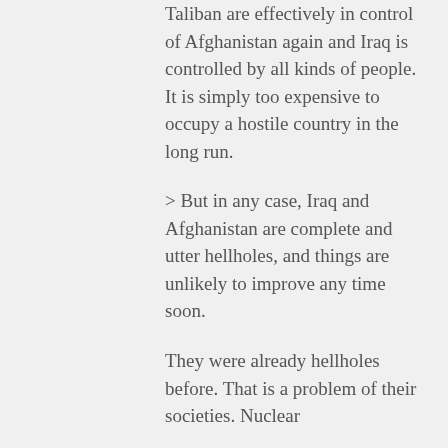Taliban are effectively in control of Afghanistan again and Iraq is controlled by all kinds of people. It is simply too expensive to occupy a hostile country in the long run.
> But in any case, Iraq and Afghanistan are complete and utter hellholes, and things are unlikely to improve any time soon.
They were already hellholes before. That is a problem of their societies. Nuclear